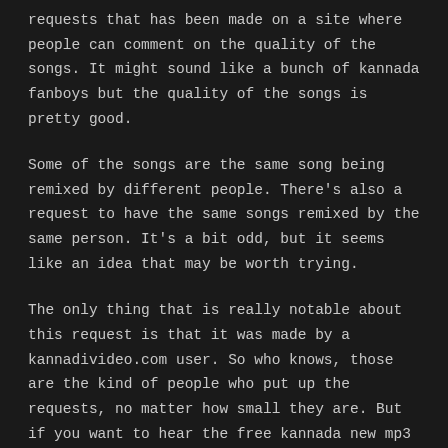requests that has been made on a site where people can comment on the quality of the songs. It might sound like a bunch of kannada fanboys but the quality of the songs is pretty good.
Some of the songs are the same song being remixed by different people. There's also a request to have the same songs remixed by the same person. It's a bit odd, but it seems like an idea that may be worth trying.
The only thing that is really notable about this request is that it was made by a kannadivideo.com user. So who knows, those are the kind of people who put up the requests, no matter how small they are. But if you want to hear the free kannada new mp3